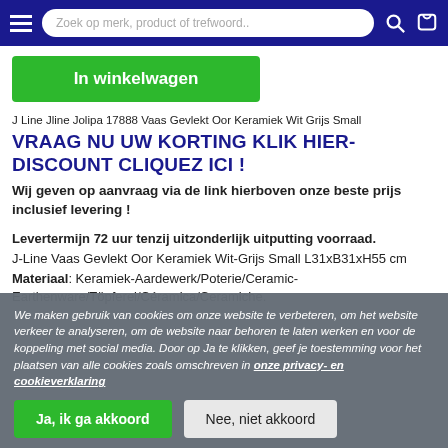Zoek op merk, product of trefwoord..
In winkelwagen
J Line Jline Jolipa 17888 Vaas Gevlekt Oor Keramiek Wit Grijs Small
VRAAG NU UW KORTING KLIK HIER-DISCOUNT CLIQUEZ ICI !
Wij geven op aanvraag via de link hierboven onze beste prijs inclusief levering !
Levertermijn 72 uur tenzij uitzonderlijk uitputting voorraad.
J-Line Vaas Gevlekt Oor Keramiek Wit-Grijs Small L31xB31xH55 cm
Materiaal: Keramiek-Aardewerk/Poterie/Ceramic-Earthenware/Töpferei/Céramica/Ceramiche.
We maken gebruik van cookies om onze website te verbeteren, om het website verkeer te analyseren, om de website naar behoren te laten werken en voor de koppeling met social media. Door op Ja te klikken, geef je toestemming voor het plaatsen van alle cookies zoals omschreven in onze privacy- en cookieverklaring
Ja, ik ga akkoord
Nee, niet akkoord